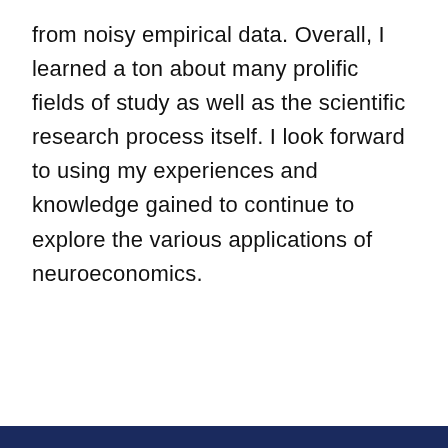from noisy empirical data. Overall, I learned a ton about many prolific fields of study as well as the scientific research process itself. I look forward to using my experiences and knowledge gained to continue to explore the various applications of neuroeconomics.